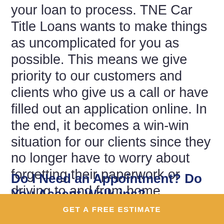your loan to process. TNE Car Title Loans wants to make things as uncomplicated for you as possible. This means we give priority to our customers and clients who give us a call or have filled out an application online. In the end, it becomes a win-win situation for our clients since they no longer have to worry about forgetting their paperwork or driving to and from home. Instead, you have everything you need for your loan at home when you have your documents on-hand and we'll make every accommodation to get your loan approved right away.
Do I Need an Appointment? Do You Accept Walk-ins?
GET A FREE ESTIMATE